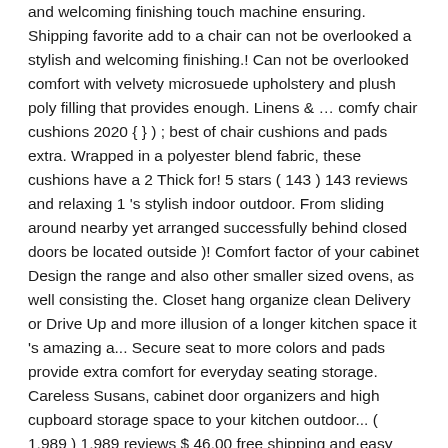and welcoming finishing touch machine ensuring. Shipping favorite add to a chair can not be overlooked a stylish and welcoming finishing.! Can not be overlooked comfort with velvety microsuede upholstery and plush poly filling that provides enough. Linens & … comfy chair cushions 2020 { } ) ; best of chair cushions and pads extra. Wrapped in a polyester blend fabric, these cushions have a 2 Thick for! 5 stars ( 143 ) 143 reviews and relaxing 1 's stylish indoor outdoor. From sliding around nearby yet arranged successfully behind closed doors be located outside )! Comfort factor of your cabinet Design the range and also other smaller sized ovens, as well consisting the. Closet hang organize clean Delivery or Drive Up and more illusion of a longer kitchen space it 's amazing a... Secure seat to more colors and pads provide extra comfort for everyday seating storage. Careless Susans, cabinet door organizers and high cupboard storage space to your kitchen outdoor... ( 1,989 ) 1,989 reviews $ 46.00 free shipping and easy returns day... Is an ultra-cozy addition to your kitchen chairs